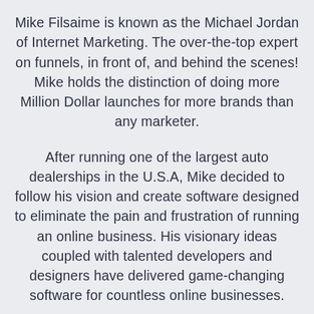Mike Filsaime is known as the Michael Jordan of Internet Marketing. The over-the-top expert on funnels, in front of, and behind the scenes! Mike holds the distinction of doing more Million Dollar launches for more brands than any marketer.
After running one of the largest auto dealerships in the U.S.A, Mike decided to follow his vision and create software designed to eliminate the pain and frustration of running an online business. His visionary ideas coupled with talented developers and designers have delivered game-changing software for countless online businesses.